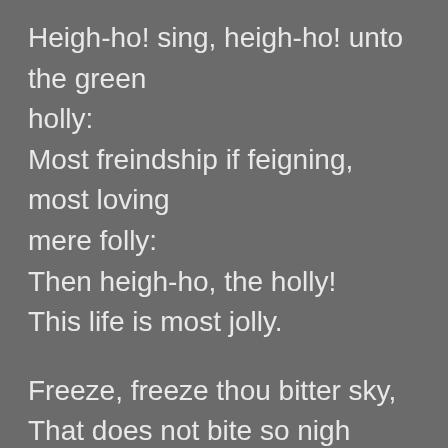Heigh-ho! sing, heigh-ho! unto the green holly:
Most freindship if feigning, most loving mere folly:
Then heigh-ho, the holly!
This life is most jolly.

Freeze, freeze thou bitter sky,
That does not bite so nigh
As benefits forgot:
Though thou the waters warp,
Thy sting is not so sharp
As a friend remembered not.